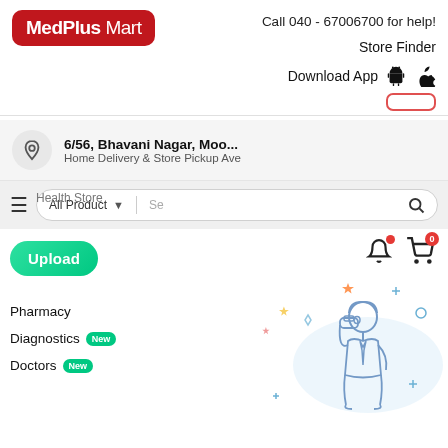[Figure (logo): MedPlusMart logo — red rounded rectangle with white bold text]
Call 040 - 67006700 for help!
Store Finder
Download App
6/56, Bhavani Nagar, Moo...
Home Delivery & Store Pickup Ave
All Product ▼   Se 🔍
Upload
Pharmacy
Diagnostics New
Doctors New
[Figure (illustration): Cartoon character looking through binoculars, surrounded by colorful stars and sparkles, on a light blue circular background]